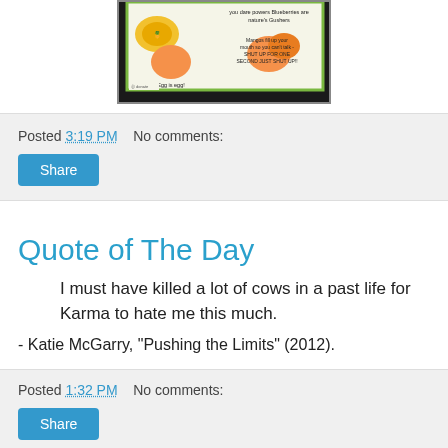[Figure (photo): A green-bordered infographic/sign about fruits with text about blueberries, eggs, and mangos. Includes images of pineapple slices, orange/egg, and mango.]
Posted 3:19 PM    No comments:
Share
Quote of The Day
I must have killed a lot of cows in a past life for Karma to hate me this much.
- Katie McGarry, "Pushing the Limits" (2012).
Posted 1:32 PM    No comments:
Share